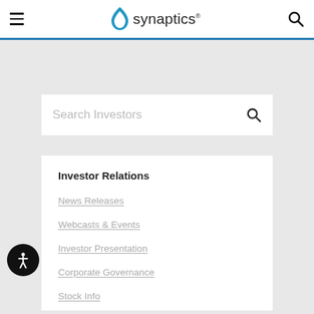synaptics
[Figure (screenshot): Search Investors input box with magnifying glass icon]
Investor Relations
News Releases
Webcasts & Events
Investor Presentation
Corporate Governance